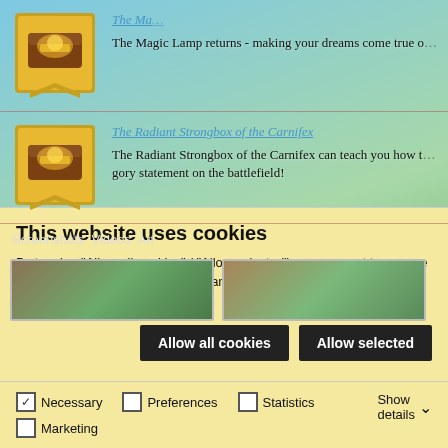[Figure (screenshot): Game website screenshot showing two item rows with treasure chest icons on banner graphics, each with a title link and description text, on a fantasy landscape background. Below the items is a Screenshots/Videos/Art tab row with two screenshot thumbnails.]
This website uses cookies
By tapping "Allow all cookies" / "Allow selected", you consent to our use of cookies. You can find out more and change your settings in the MY.GAMES cookies policy.
Allow all cookies | Allow selected
Necessary  Preferences  Statistics  Marketing  Show details